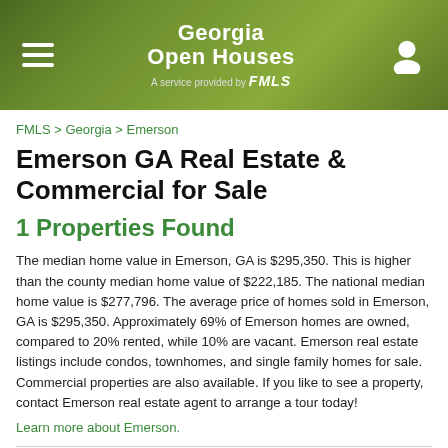Georgia Open Houses — A service provided by FMLS
FMLS > Georgia > Emerson
Emerson GA Real Estate & Commercial for Sale
1 Properties Found
The median home value in Emerson, GA is $295,350. This is higher than the county median home value of $222,185. The national median home value is $277,796. The average price of homes sold in Emerson, GA is $295,350. Approximately 69% of Emerson homes are owned, compared to 20% rented, while 10% are vacant. Emerson real estate listings include condos, townhomes, and single family homes for sale. Commercial properties are also available. If you like to see a property, contact Emerson real estate agent to arrange a tour today!
Learn more about Emerson.